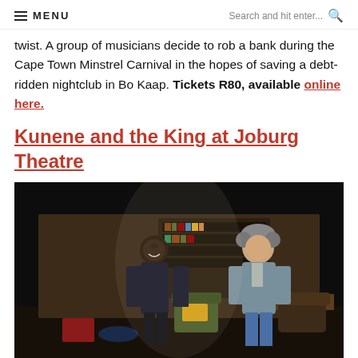MENU   Search and hit enter...
twist. A group of musicians decide to rob a bank during the Cape Town Minstrel Carnival in the hopes of saving a debt-ridden nightclub in Bo Kaap. Tickets R80, available online here.
Kunene and the King at Joburg Theatre
[Figure (photo): Two men on a theatre stage set resembling a living room with bookshelves. One man on the left is a tall Black man in a dark short-sleeve shirt, and the other on the right is a White man with curly grey hair wearing a grey cardigan and jeans.]